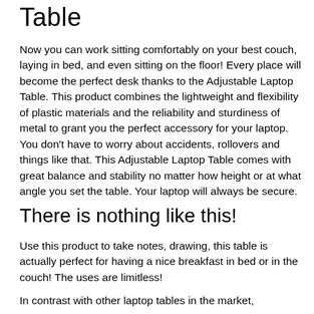Table
Now you can work sitting comfortably on your best couch, laying in bed, and even sitting on the floor! Every place will become the perfect desk thanks to the Adjustable Laptop Table. This product combines the lightweight and flexibility of plastic materials and the reliability and sturdiness of metal to grant you the perfect accessory for your laptop. You don't have to worry about accidents, rollovers and things like that. This Adjustable Laptop Table comes with great balance and stability no matter how height or at what angle you set the table. Your laptop will always be secure.
There is nothing like this!
Use this product to take notes, drawing, this table is actually perfect for having a nice breakfast in bed or in the couch! The uses are limitless!
In contrast with other laptop tables in the market,